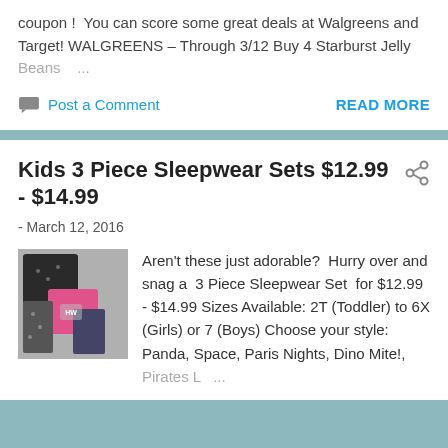coupon !  You can score some great deals at Walgreens and Target! WALGREENS – Through 3/12 Buy 4 Starburst Jelly Beans ...
Post a Comment
READ MORE
Kids 3 Piece Sleepwear Sets $12.99 - $14.99
- March 12, 2016
[Figure (photo): Kids 3 piece sleepwear sets product image showing dark and pink patterned pajama sets]
Aren't these just adorable?  Hurry over and snag a  3 Piece Sleepwear Set  for $12.99 - $14.99 Sizes Available: 2T (Toddler) to 6X (Girls) or 7 (Boys) Choose your style: Panda, Space, Paris Nights, Dino Mite!, Pirates L ...